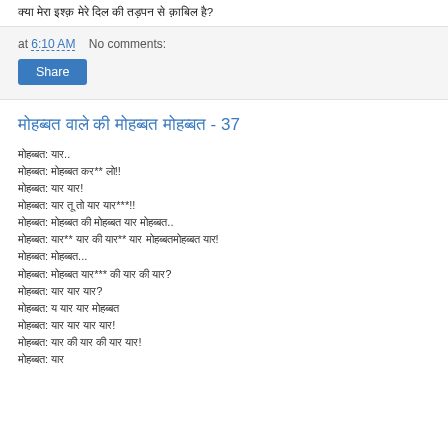क्या मेरा इश्क़ मेरे दिल की तड़पन से क़ाबिल है?
at 6:10 AM    No comments:
Share
मोहब्बत वाले की मोहब्बत मोहब्बत - 37
मोहब्बत: यार..
मोहब्बत: मोहब्बत कर** लो!!
मोहब्बत: यार यार!
मोहब्बत: यार तू तो यार यार***!!
मोहब्बत: मोहब्बत की मोहब्बत यार मोहब्बत..
मोहब्बत: यार** यार की यार** यार मोहब्बतमोहब्बत यार!
मोहब्बत: मोहब्बत...
मोहब्बत: मोहब्बत यार*** की यार की यार?
मोहब्बत: यार यार यार?
मोहब्बत: य यार यार मोहब्बत
मोहब्बत: यार यार यार यार!
मोहब्बत: यार की यार की यार यार!
मोहब्बत: यार